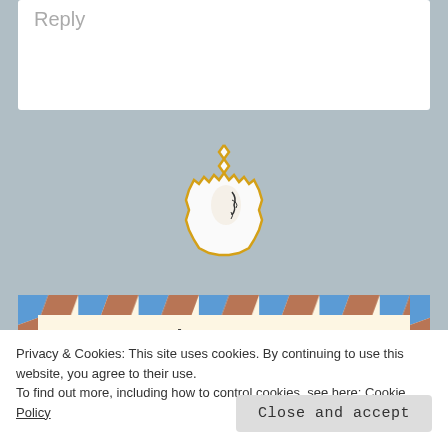Reply
[Figure (illustration): An envelope icon with a zigzag gold/yellow border containing a stylized face silhouette, on a gray background]
Leave a Reply
Privacy & Cookies: This site uses cookies. By continuing to use this website, you agree to their use.
To find out more, including how to control cookies, see here: Cookie Policy
Close and accept